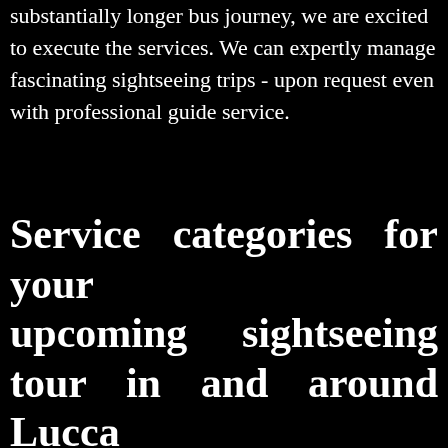substantially longer bus journey, we are excited to execute the services. We can expertly manage fascinating sightseeing trips - upon request even with professional guide service.
Service categories for your upcoming sightseeing tour in and around Lucca